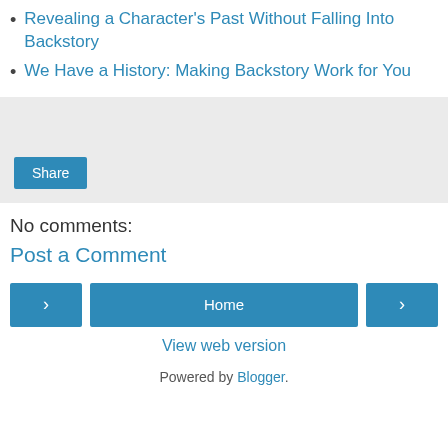Revealing a Character's Past Without Falling Into Backstory
We Have a History: Making Backstory Work for You
[Figure (other): Share button area with light grey background]
No comments:
Post a Comment
[Figure (other): Navigation buttons: left arrow, Home, right arrow]
View web version
Powered by Blogger.